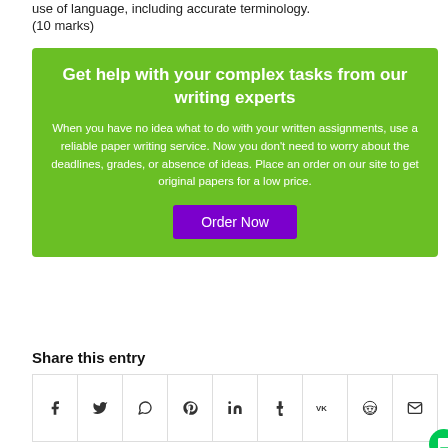use of language, including accurate terminology.
(10 marks)
[Figure (infographic): Green promotional box with heading 'Get help with your complex tasks from our writing experts', body text about writing service, and a purple 'Order Now' button.]
Share this entry
[Figure (infographic): Row of social media share icons: Facebook, Twitter, WhatsApp, Pinterest, LinkedIn, Tumblr, VK, Reddit, Email, and a green chat bubble button.]